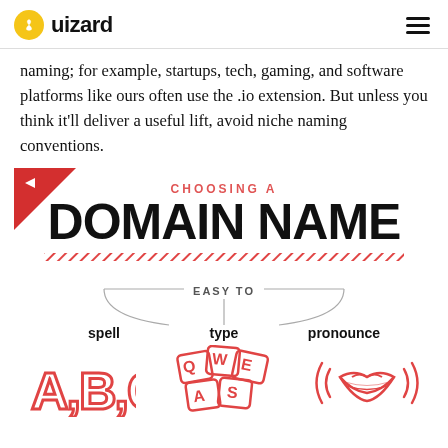uizard
naming; for example, startups, tech, gaming, and software platforms like ours often use the .io extension. But unless you think it'll deliver a useful lift, avoid niche naming conventions.
[Figure (infographic): Infographic about choosing a domain name. Red triangle decoration in top left. Title reads 'CHOOSING A DOMAIN NAME' with a red hatched divider. Below is a branching diagram labeled 'EASY TO' with three branches: spell, type, pronounce. Each has a red illustrated icon: ABC letters for spell, keyboard keys for type, lips/sound waves for pronounce.]